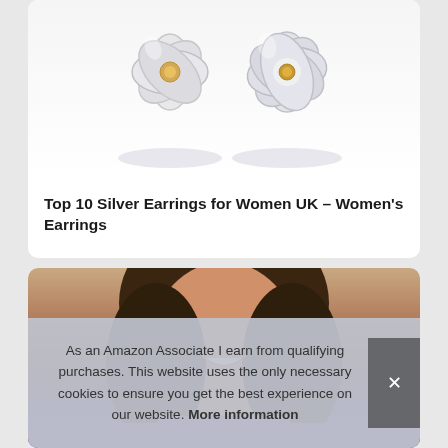[Figure (photo): Two silver flower-shaped earrings (stud and hoop) on white background with reflection]
Top 10 Silver Earrings for Women UK – Women's Earrings
[Figure (photo): A smiling woman with long dark hair wearing a purple top]
As an Amazon Associate I earn from qualifying purchases. This website uses the only necessary cookies to ensure you get the best experience on our website. More information